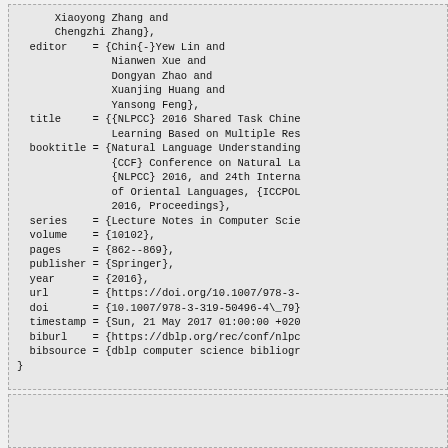BibTeX code block showing bibliographic entry fields: Xiaoyong Zhang and Chengzhi Zhang, editor = {Chin{-}Yew Lin and Nianwen Xue and Dongyan Zhao and Xuanjing Huang and Yansong Feng}, title = {{NLPCC} 2016 Shared Task Chine... Learning Based on Multiple Res... booktitle = {Natural Language Understanding... {CCF} Conference on Natural La... {NLPCC} 2016, and 24th Interna... of Oriental Languages, {ICCPOL... 2016, Proceedings}, series = {Lecture Notes in Computer Scie... volume = {10102}, pages = {862--869}, publisher = {Springer}, year = {2016}, url = {https://doi.org/10.1007/978-3-... doi = {10.1007/978-3-319-50496-4\_79}... timestamp = {Sun, 21 May 2017 01:00:00 +020... biburl = {https://dblp.org/rec/conf/nlpc... bibsource = {dblp computer science bibliogr... }
Bottom partial block (continuation of bibliography or next entry)